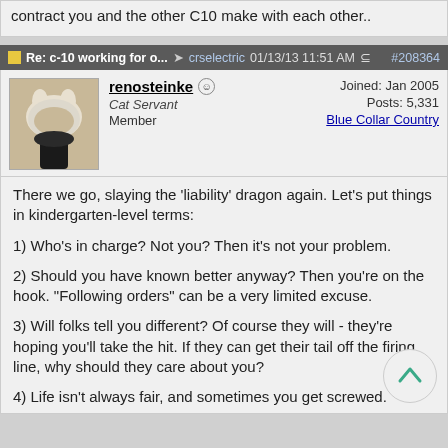contract you and the other C10 make with each other..
Re: c-10 working for o... → crselectric 01/13/13 11:51 AM #208364
renosteinke | Cat Servant | Member | Joined: Jan 2005 | Posts: 5,331 | Blue Collar Country
There we go, slaying the 'liability' dragon again. Let's put things in kindergarten-level terms:
1) Who's in charge? Not you? Then it's not your problem.
2) Should you have known better anyway? Then you're on the hook. "Following orders" can be a very limited excuse.
3) Will folks tell you different? Of course they will - they're hoping you'll take the hit. If they can get their tail off the firing line, why should they care about you?
4) Life isn't always fair, and sometimes you get screwed.